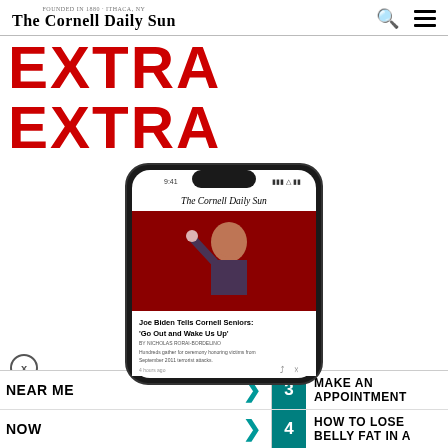The Cornell Daily Sun
EXTRA EXTRA
[Figure (screenshot): Smartphone mockup showing The Cornell Daily Sun app with article headline 'Joe Biden Tells Cornell Seniors: Go Out and Wake Us Up' and subheading 'Hundreds gather for ceremony honoring victims from September 2011 terrorist attacks. 4 hours ago']
NEAR ME
NOW
3 MAKE AN APPOINTMENT
4 HOW TO LOSE BELLY FAT IN A